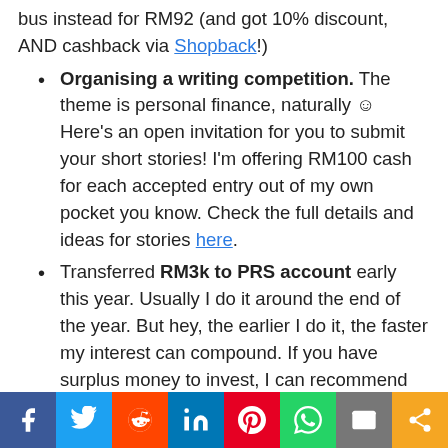bus instead for RM92 (and got 10% discount, AND cashback via Shopback!)
Organising a writing competition. The theme is personal finance, naturally 🙂 Here's an open invitation for you to submit your short stories! I'm offering RM100 cash for each accepted entry out of my own pocket you know. Check the full details and ideas for stories here.
Transferred RM3k to PRS account early this year. Usually I do it around the end of the year. But hey, the earlier I do it, the faster my interest can compound. If you have surplus money to invest, I can recommend PRS (see
Social share bar: Facebook, Twitter, Reddit, LinkedIn, Pinterest, WhatsApp, Email, Share